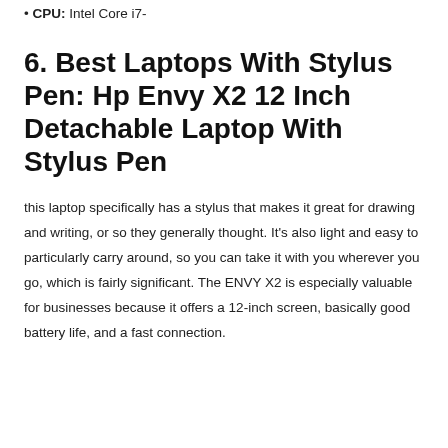• CPU: Intel Core i7-
6. Best Laptops With Stylus Pen: Hp Envy X2 12 Inch Detachable Laptop With Stylus Pen
this laptop specifically has a stylus that makes it great for drawing and writing, or so they generally thought. It's also light and easy to particularly carry around, so you can take it with you wherever you go, which is fairly significant. The ENVY X2 is especially valuable for businesses because it offers a 12-inch screen, basically good battery life, and a fast connection.